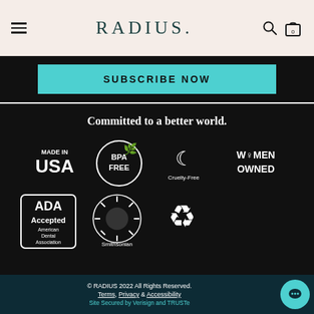RADIUS.
SUBSCRIBE NOW
Committed to a better world.
[Figure (logo): Certification badges: MADE IN USA, BPA FREE, Cruelty-Free, WOMEN OWNED, ADA Accepted American Dental Association, Smithsonian, Recycling symbol]
© RADIUS 2022 All Rights Reserved. Terms, Privacy & Accessibility. Site Secured by Verisign and TRUSTe